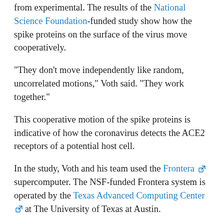from experimental. The results of the National Science Foundation-funded study show how the spike proteins on the surface of the virus move cooperatively.
"They don't move independently like random, uncorrelated motions," Voth said. "They work together."
This cooperative motion of the spike proteins is indicative of how the coronavirus detects the ACE2 receptors of a potential host cell.
In the study, Voth and his team used the Frontera supercomputer. The NSF-funded Frontera system is operated by the Texas Advanced Computing Center at The University of Texas at Austin.
"We typically envision viruses as static things, which limits our understanding of their changing ability to infect host cells," said Dr. Shi...